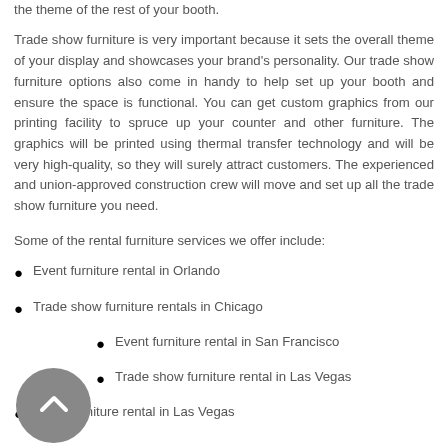the theme of the rest of your booth.
Trade show furniture is very important because it sets the overall theme of your display and showcases your brand's personality. Our trade show furniture options also come in handy to help set up your booth and ensure the space is functional. You can get custom graphics from our printing facility to spruce up your counter and other furniture. The graphics will be printed using thermal transfer technology and will be very high-quality, so they will surely attract customers. The experienced and union-approved construction crew will move and set up all the trade show furniture you need.
Some of the rental furniture services we offer include:
Event furniture rental in Orlando
Trade show furniture rentals in Chicago
Event furniture rental in San Francisco
Trade show furniture rental in Las Vegas
Event furniture rental in Las Vegas